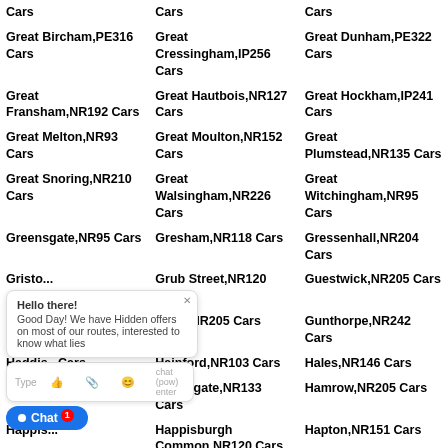Cars
Cars
Cars
Great Bircham,PE316 Cars
Great Cressingham,IP256 Cars
Great Dunham,PE322 Cars
Great Fransham,NR192 Cars
Great Hautbois,NR127 Cars
Great Hockham,IP241 Cars
Great Melton,NR93 Cars
Great Moulton,NR152 Cars
Great Plumstead,NR135 Cars
Great Snoring,NR210 Cars
Great Walsingham,NR226 Cars
Great Witchingham,NR95 Cars
Greensgate,NR95 Cars
Gresham,NR118 Cars
Gressenhall,NR204 Cars
Gristo...
Grub Street,NR120 Cars
Guestwick,NR205 Cars
Guilt C...Cars
Guist,NR205 Cars
Gunthorpe,NR242 Cars
Haddis...Cars
Hainford,NR103 Cars
Hales,NR146 Cars
Hall Gr...Cars
Halvergate,NR133 Cars
Hamrow,NR205 Cars
Happis...
Happisburgh Common,NR120 Cars
Hapton,NR151 Cars
Hardley Street,NR146
Hardwick,PE204 Cars
Hardwick,NR152 Cars